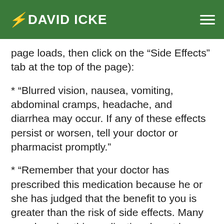DAVID ICKE
page loads, then click on the “Side Effects” tab at the top of the page):
* “Blurred vision, nausea, vomiting, abdominal cramps, headache, and diarrhea may occur. If any of these effects persist or worsen, tell your doctor or pharmacist promptly.”
* “Remember that your doctor has prescribed this medication because he or she has judged that the benefit to you is greater than the risk of side effects. Many people using this medication do not have serious side effects.”